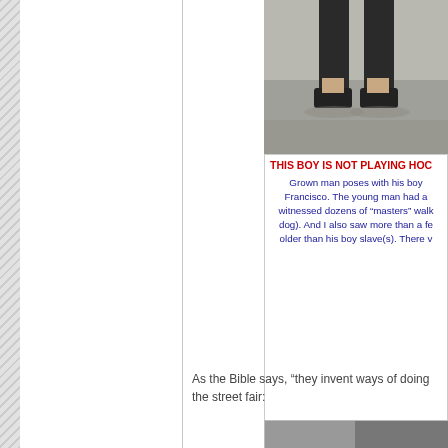[Figure (photo): Cropped photo showing legs/feet of a person, partially cut off at the top of the page]
THIS BOY IS NOT PLAYING HOC[KEY]
Grown man poses with his boy [slave] in San Francisco. The young man had a [leash/collar]. [I] witnessed dozens of “masters” walk[ing their human dog). And I also saw more than a fe[w men] older than his boy slave(s). There w[as...]
As the Bible says, “they invent ways of doing [evil].” Here are photos I took at the street fair:
[Figure (photo): Photo of people at a street fair, showing a man in a cap and another person]